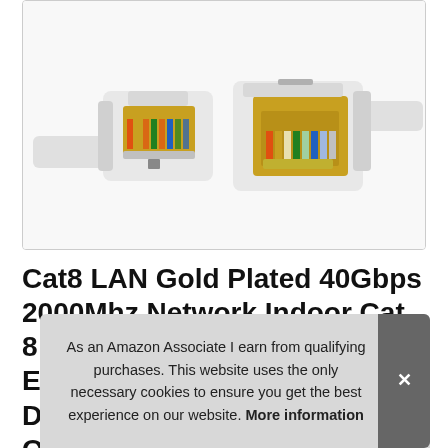[Figure (photo): Photo of two Cat8 Ethernet cable RJ45 connectors with gold-plated contacts, shown side by side on a white background. The connectors have visible colored wiring inside clear plastic housings with white cable jackets.]
Cat8 LAN Gold Plated 40Gbps 2000Mhz Network Indoor Cat 8 Eth Du Ou
As an Amazon Associate I earn from qualifying purchases. This website uses the only necessary cookies to ensure you get the best experience on our website. More information